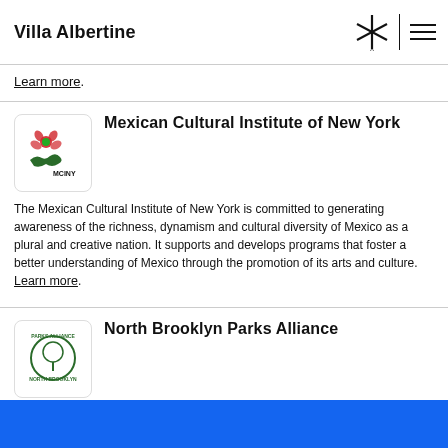Villa Albertine
Learn more.
Mexican Cultural Institute of New York
The Mexican Cultural Institute of New York is committed to generating awareness of the richness, dynamism and cultural diversity of Mexico as a plural and creative nation. It supports and develops programs that foster a better understanding of Mexico through the promotion of its arts and culture. Learn more.
North Brooklyn Parks Alliance
The North Brooklyn Parks Alliance (NBK Parks) was formed in 2003 as the Open Space Alliance for North Brooklyn (OSA) to raise private funds to expand and improve open space in North Brooklyn. Throughout its history, NBK Parks has been focused on capital projects and the maintenance of parks, while also acting